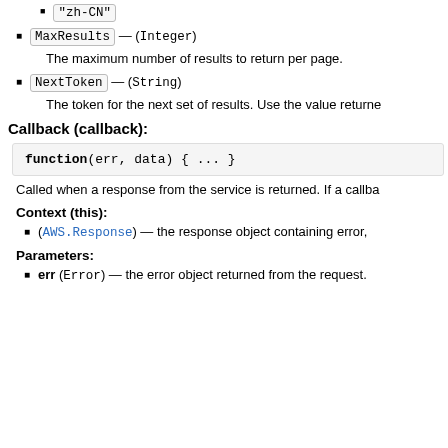"zh-CN"
MaxResults — (Integer)
The maximum number of results to return per page.
NextToken — (String)
The token for the next set of results. Use the value returne
Callback (callback):
Called when a response from the service is returned. If a callba
Context (this):
(AWS.Response) — the response object containing error,
Parameters:
err (Error) — the error object returned from the request.